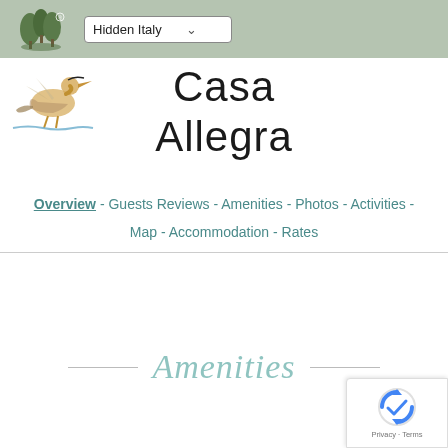Hidden Italy
[Figure (logo): Hidden Italy tree logo in top-left header bar]
[Figure (logo): Bird/heron logo illustration below header bar, left side]
Casa Allegra
Overview - Guests Reviews - Amenities - Photos - Activities - Map - Accommodation - Rates
Amenities
[Figure (logo): Google reCAPTCHA badge at bottom right with Privacy - Terms text]